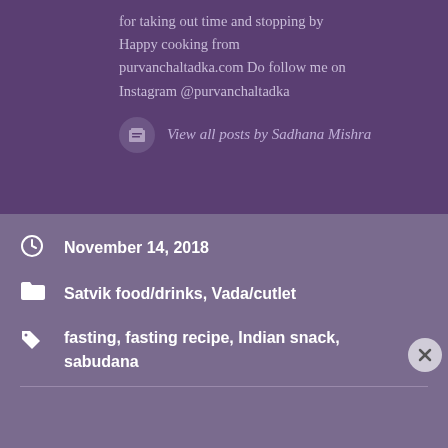for taking out time and stopping by Happy cooking from purvanchaltadka.com Do follow me on Instagram @purvanchaltadka
View all posts by Sadhana Mishra
November 14, 2018
Satvik food/drinks, Vada/cutlet
fasting, fasting recipe, Indian snack, sabudana
Advertisements
[Figure (screenshot): DuckDuckGo advertisement banner with orange background showing text 'Search, browse, and email with more privacy. All in One Free App' and a phone image with DuckDuckGo logo]